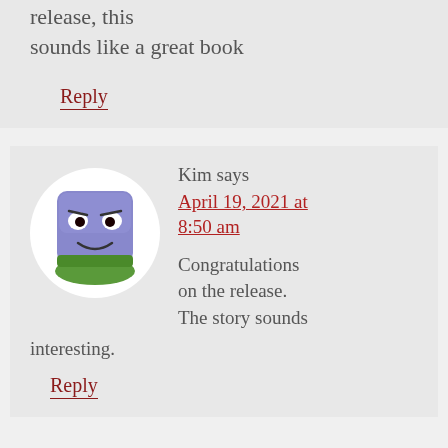release, this sounds like a great book
Reply
[Figure (illustration): Avatar of Kim: a purple cartoon character with a smiling face on a green base, circular white background]
Kim says
April 19, 2021 at 8:50 am
Congratulations on the release. The story sounds interesting.
Reply